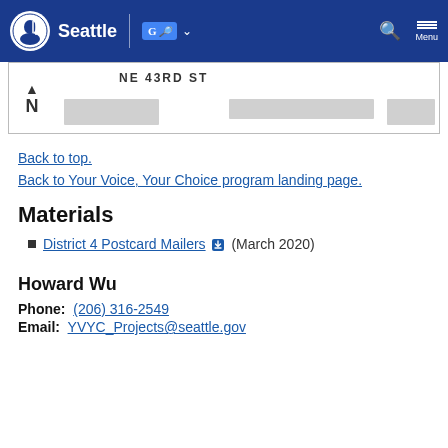Seattle | Google Translate | Search | Menu
[Figure (map): Partial map showing NE 43RD ST with north arrow indicator and gray building blocks]
Back to top.
Back to Your Voice, Your Choice program landing page.
Materials
District 4 Postcard Mailers (March 2020)
Howard Wu
Phone: (206) 316-2549
Email: YVYC_Projects@seattle.gov